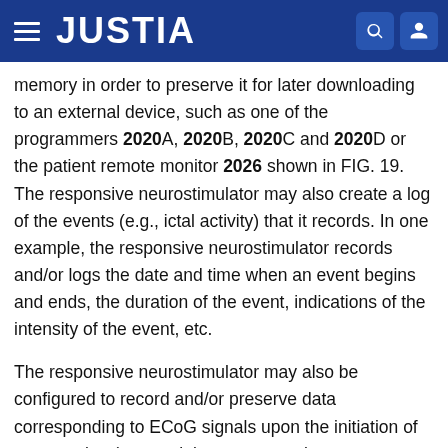JUSTIA
memory in order to preserve it for later downloading to an external device, such as one of the programmers 2020A, 2020B, 2020C and 2020D or the patient remote monitor 2026 shown in FIG. 19. The responsive neurostimulator may also create a log of the events (e.g., ictal activity) that it records. In one example, the responsive neurostimulator records and/or logs the date and time when an event begins and ends, the duration of the event, indications of the intensity of the event, etc.
The responsive neurostimulator may also be configured to record and/or preserve data corresponding to ECoG signals upon the initiation of some action (e.g., swiping an external magnet near the site at which the responsive neurostimulator is implanted) by the patient, a caregiver or physician.